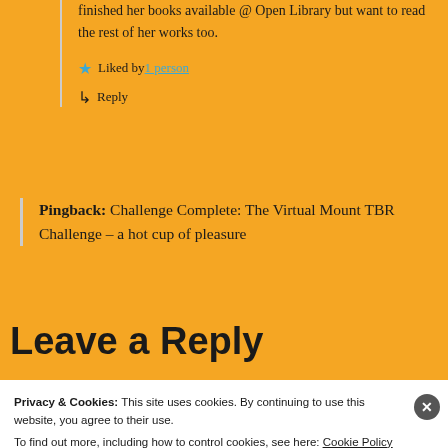finished her books available @ Open Library but want to read the rest of her works too.
Liked by 1 person
↳ Reply
Pingback:  Challenge Complete: The Virtual Mount TBR Challenge – a hot cup of pleasure
Leave a Reply
Privacy & Cookies: This site uses cookies. By continuing to use this website, you agree to their use.
To find out more, including how to control cookies, see here: Cookie Policy
Close and accept